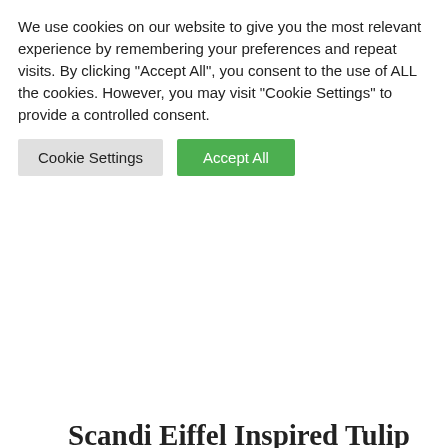We use cookies on our website to give you the most relevant experience by remembering your preferences and repeat visits. By clicking “Accept All”, you consent to the use of ALL the cookies. However, you may visit "Cookie Settings" to provide a controlled consent.
Cookie Settings
Accept All
Scandi Eiffel Inspired Tulip Grey Bar Stool
£64.00  £46.00
Or Pay In 3 interest-free instalments of £15.33 with Klarna.
Product ID: 22468    Free UK Mainland Delivery*
Scandi grey bar stool made to top quality this product is a very modern classy design. It is  made from a very durable strong plastic. This reproduction Inspired Eiffel Chair seat is made from a single mould making it extremely hard wearing. The base section is wooden